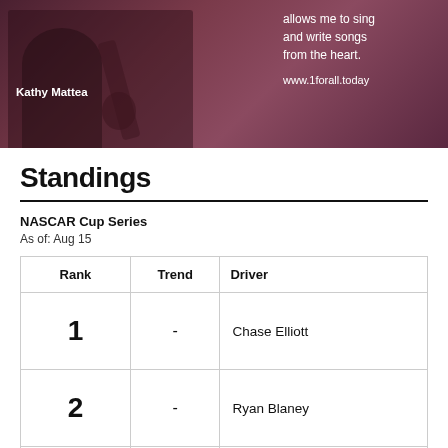[Figure (photo): Advertisement photo showing Kathy Mattea with a guitar, dark rose/burgundy toned, text overlay reading 'allows me to sing and write songs from the heart.' and 'www.1forall.today']
Standings
NASCAR Cup Series
As of: Aug 15
| Rank | Trend | Driver |
| --- | --- | --- |
| 1 | - | Chase Elliott |
| 2 | - | Ryan Blaney |
|  |  |  |